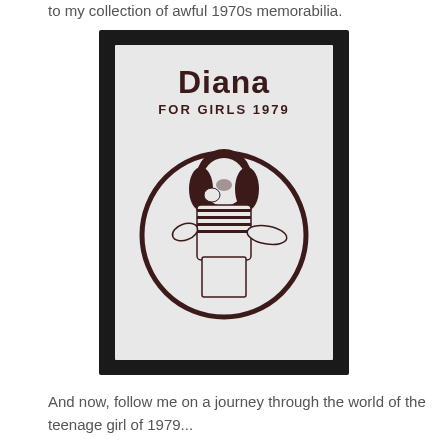to my collection of awful 1970s memorabilia.
[Figure (photo): Photo of the book 'Diana For Girls 1979' - a hardcover annual with a white cover showing the title 'Diana FOR GIRLS 1979' in bold dark lettering above an illustration of a teenage girl in a circle, photographed against a dark background.]
And now, follow me on a journey through the world of the teenage girl of 1979...